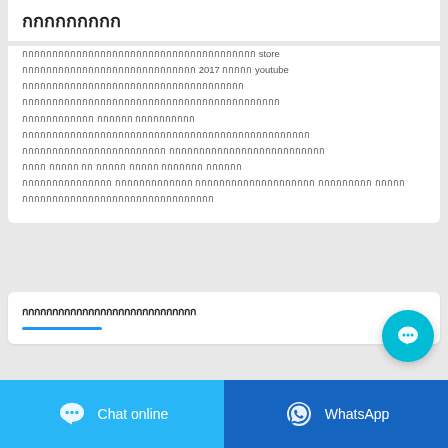กกกกกกกกก
กกกกกกกกกกกกกกกกกกกกกกกกกกกกกกกกกกกกกกก store กกกกกกกกกกกกกกกกกกกกกกกกกกกกก 2017 กกกกก youtube กกกกกกกกกกกกกกกกกกกกกกกกกกกกกกกกกกกกก กกกกกกกกกกกกกกกกกกกกกกกกกกกกกกกกกกกกกกกกกกก กกกกกกกกกกกก กกกกกก กกกกกกกกกก กกกกกกกกกกกกกกกกกกกกกกกกกกกกกกกกกกกกกกกกกกกกกกกก กกกกกกกกกกกกกกกกกกกกกกกก กกกกกกกกกกกกกกกกกกกกกกกกกก กกกก กกกกก กก กกกกก กกกกก กกกกกกก กกกกกก กกกกกกกกกกกกกกก กกกกกกกกกกกกก กกกกกกกกกกกกกกกกกกกก กกกกกกกกก กกกกก กกกกกกกกกกกกกกกกกกกกกกกกกกกกกกกก
กกกกกกกกกกกกกกกกกกกกกกกกกกกกก